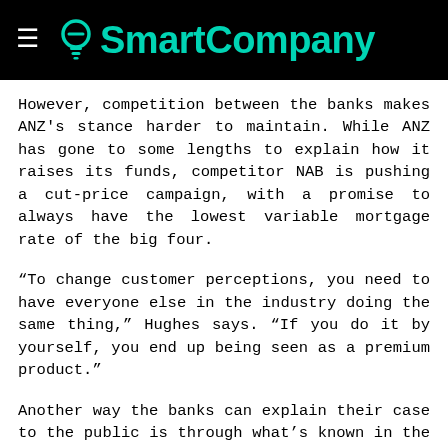SmartCompany
However, competition between the banks makes ANZ's stance harder to maintain. While ANZ has gone to some lengths to explain how it raises its funds, competitor NAB is pushing a cut-price campaign, with a promise to always have the lowest variable mortgage rate of the big four.
“To change customer perceptions, you need to have everyone else in the industry doing the same thing,” Hughes says. “If you do it by yourself, you end up being seen as a premium product.”
Another way the banks can explain their case to the public is through what’s known in the industry as “trans-media storytelling”. This refers to telling a story differently in different media, particularly with regards to how much detail you give.